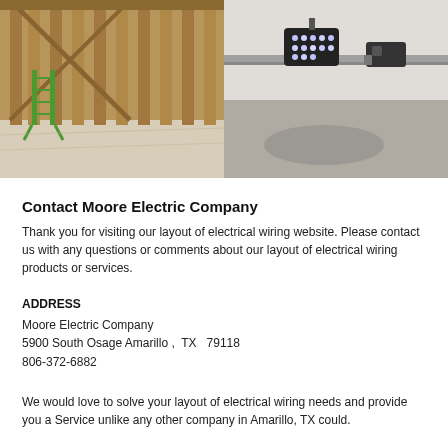[Figure (photo): Interior construction photo showing wooden wall studs and framing, with a green ladder leaning against the wall and plastic sheeting on the floor.]
[Figure (photo): Exterior photo of a mounted LED spotlight and a security camera or sensor on a white rail/track mounted to a ceiling or overhang.]
Contact Moore Electric Company
Thank you for visiting our layout of electrical wiring website. Please contact us with any questions or comments about our layout of electrical wiring products or services.
ADDRESS
Moore Electric Company
5900 South Osage Amarillo ,  TX   79118
806-372-6882
We would love to solve your layout of electrical wiring needs and provide you a Service unlike any other company in Amarillo, TX could.